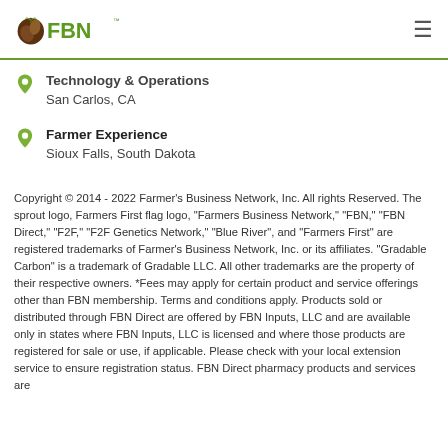FBN - Farmer's Business Network
Technology & Operations
San Carlos, CA
Farmer Experience
Sioux Falls, South Dakota
Copyright © 2014 - 2022 Farmer's Business Network, Inc. All rights Reserved. The sprout logo, Farmers First flag logo, "Farmers Business Network," "FBN," "FBN Direct," "F2F," "F2F Genetics Network," "Blue River", and "Farmers First" are registered trademarks of Farmer's Business Network, Inc. or its affiliates. "Gradable Carbon" is a trademark of Gradable LLC. All other trademarks are the property of their respective owners. *Fees may apply for certain product and service offerings other than FBN membership. Terms and conditions apply. Products sold or distributed through FBN Direct are offered by FBN Inputs, LLC and are available only in states where FBN Inputs, LLC is licensed and where those products are registered for sale or use, if applicable. Please check with your local extension service to ensure registration status. FBN Direct pharmacy products and services are